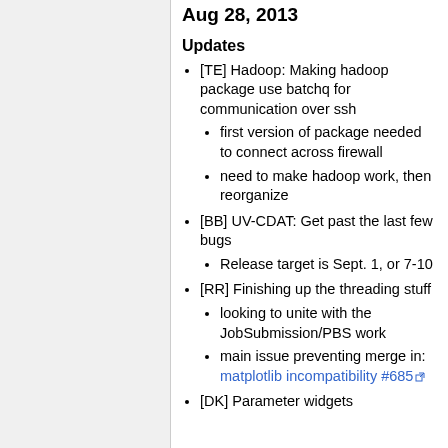Aug 28, 2013
Updates
[TE] Hadoop: Making hadoop package use batchq for communication over ssh
first version of package needed to connect across firewall
need to make hadoop work, then reorganize
[BB] UV-CDAT: Get past the last few bugs
Release target is Sept. 1, or 7-10
[RR] Finishing up the threading stuff
looking to unite with the JobSubmission/PBS work
main issue preventing merge in: matplotlib incompatibility #685
[DK] Parameter widgets